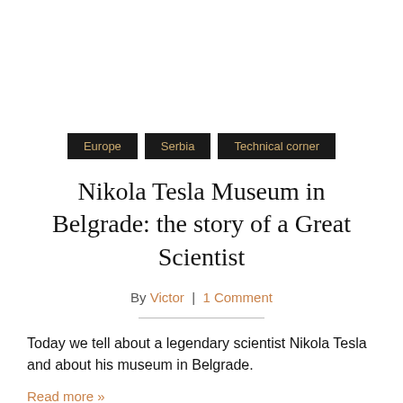Europe
Serbia
Technical corner
Nikola Tesla Museum in Belgrade: the story of a Great Scientist
By Victor | 1 Comment
Today we tell about a legendary scientist Nikola Tesla and about his museum in Belgrade.
Read more »